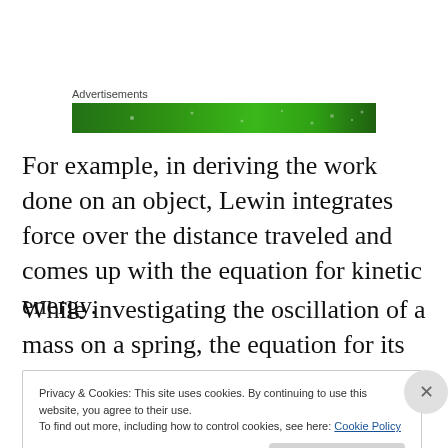Advertisements
[Figure (other): Green advertisement banner with light dot pattern]
For example, in deriving the work done on an object, Lewin integrates force over the distance traveled and comes up with the equation for kinetic energy.
While investigating the oscillation of a mass on a spring, the equation for its harmonic motion is derived.
Privacy & Cookies: This site uses cookies. By continuing to use this website, you agree to their use.
To find out more, including how to control cookies, see here: Cookie Policy
Close and accept